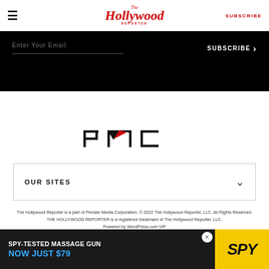The Hollywood Reporter — SUBSCRIBE
[Figure (logo): The Hollywood Reporter masthead logo in red italic script]
Enter Your Email   SUBSCRIBE >
[Figure (logo): PMC (Penske Media Corporation) logo in black with red accent]
OUR SITES
The Hollywood Reporter is a part of Penske Media Corporation. © 2022 The Hollywood Reporter, LLC. All Rights Reserved. THE HOLLYWOOD REPORTER is a registered trademark of The Hollywood Reporter, LLC. Powered by WordPress.com VIP
[Figure (infographic): SPY-TESTED MASSAGE GUN NOW JUST $79 advertisement banner with SPY logo on yellow background]